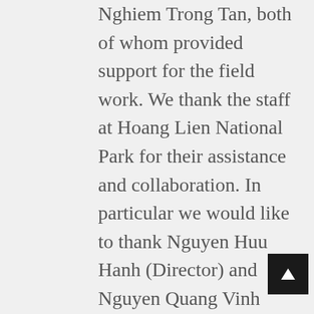Nghiem Trong Tan, both of whom provided support for the field work. We thank the staff at Hoang Lien National Park for their assistance and collaboration. In particular we would like to thank Nguyen Huu Hanh (Director) and Nguyen Quang Vinh (Former Director) for continued support and partnership. The Vietnamese Ministry of Agriculture and Rural Development and staff at Hoang Lien National Park kindly facilitated surveys and issued permissions. We thank Tim Cutajar and Luke Harding for their assistance in the field and we thank Trenton W. J. Garner for comments on the draft manuscript the use of laboratory facilities. We